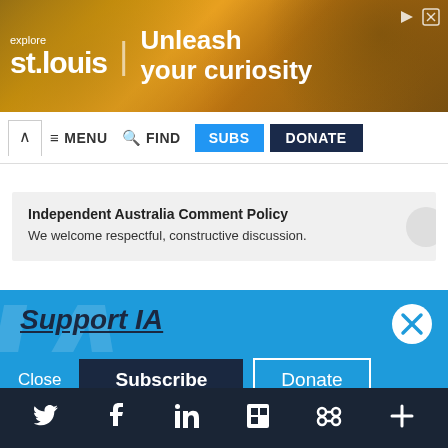[Figure (screenshot): Advertisement banner for 'explore st.louis | Unleash your curiosity' with golden gear background]
∧  ≡ MENU  🔍 FIND  SUBS  DONATE
Independent Australia Comment Policy
We welcome respectful, constructive discussion.
Support IA
Subscribe to IA and investigate Australia today.
Close  Subscribe  Donate
Twitter  Facebook  LinkedIn  Flipboard  Share  More